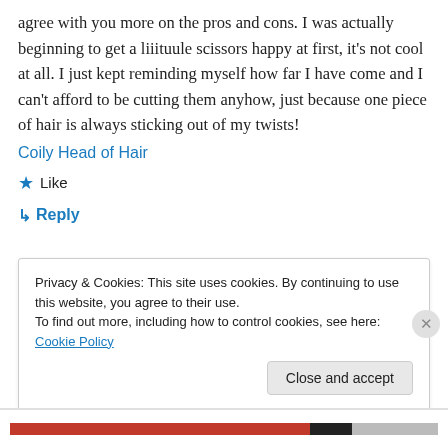agree with you more on the pros and cons. I was actually beginning to get a liiituule scissors happy at first, it's not cool at all. I just kept reminding myself how far I have come and I can't afford to be cutting them anyhow, just because one piece of hair is always sticking out of my twists!
Coily Head of Hair
★ Like
↪ Reply
Privacy & Cookies: This site uses cookies. By continuing to use this website, you agree to their use.
To find out more, including how to control cookies, see here: Cookie Policy
Close and accept